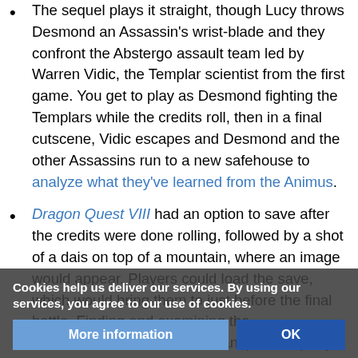The sequel plays it straight, though Lucy throws Desmond an Assassin's wrist-blade and they confront the Abstergo assault team led by Warren Vidic, the Templar scientist from the first game. You get to play as Desmond fighting the Templars while the credits roll, then in a final cutscene, Vidic escapes and Desmond and the other Assassins run to a new safehouse to analyze what they've learned from the Animus.
Dragon Quest VIII had an option to save after the credits were done rolling, followed by a shot of a dais on top of a mountain, where an image would appear. Players could load the save, which would bring them to just before the final battle. Finding and examining the aforementioned dais would transport the party to a new dungeon, and a new sidequest at the end of it. Completing the dungeon and defeating the final boss
Cookies help us deliver our services. By using our services, you agree to our use of cookies.